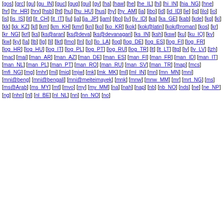[gos] [grc] [gu] [gu_IN] [guc] [gug] [gui] [gv] [ha] [haw] [he] [he_IL] [hi] [hi_IN] [hia_NG] [hne] [hr] [hr_HR] [hrx] [hsb] [ht] [hu] [hu_HU] [hus] [hy] [hy_AM] [ia] [ibo] [id] [id_ID] [ie] [ig] [ilo] [io] [is] [is_IS] [it] [it_CH] [it_IT] [iu] [ja] [ja_JP] [jam] [jbo] [jv] [jv_ID] [ka] [ka_GE] [kab] [kde] [kg] [ki] [kk] [kk_KZ] [kl] [km] [km_KH] [kmr] [kn] [ko] [ko_KR] [kok] [kok@latin] [kok@roman] [kos] [kr] [kr_NG] [krl] [ks] [ks@aran] [ks@deva] [ks@devanagari] [ks_IN] [ksh] [ksw] [ku] [ku_IQ] [kv] [kw] [ky] [la] [lb] [lg] [li] [lkt] [lmo] [ln] [lo] [lo_LA] [log] [log_DE] [log_ES] [log_FI] [log_FR] [log_HR] [log_HU] [log_IT] [log_PL] [log_PT] [log_RU] [log_TR] [lt] [lt_LT] [ltg] [lv] [lv_LV] [lzh] [mac] [mai] [man_AR] [man_AZ] [man_DE] [man_ES] [man_FI] [man_FR] [man_ID] [man_IT] [man_NL] [man_PL] [man_PT] [man_RO] [man_RU] [man_SV] [man_TR] [map] [mcs] [mfi_NG] [mg] [mhr] [mi] [miq] [mjw] [mk] [mk_MK] [ml] [ml_IN] [mn] [mn_MN] [mni] [mni@beng] [mni@bengali] [mni@meiteimayek] [mnk] [mnw] [mnw_MM] [mr] [mrt_NG] [ms] [ms@Arab] [ms_MY] [mt] [mvo] [my] [my_MM] [na] [nah] [nap] [nb] [nb_NO] [nds] [ne] [ne_NP] [ng] [nhn] [nl] [nl_BE] [nl_NL] [nn] [nn_NO] [no]